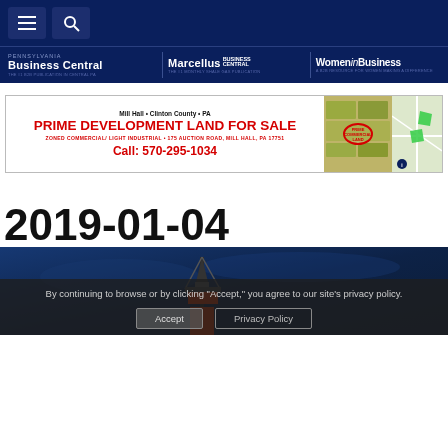Navigation bar with menu and search buttons
[Figure (logo): Pennsylvania Business Central, Marcellus Business Central, Women in Business logos on dark navy background]
[Figure (photo): Advertisement banner: Mill Hall • Clinton County • PA — PRIME DEVELOPMENT LAND FOR SALE — ZONED COMMERCIAL/LIGHT INDUSTRIAL • 175 AUCTION ROAD, MILL HALL, PA 17751 — CALL: 570-295-1034]
2019-01-04
[Figure (photo): Article preview thumbnail with blue-toned background showing a drill rig silhouette]
By continuing to browse or by clicking "Accept," you agree to our site's privacy policy.